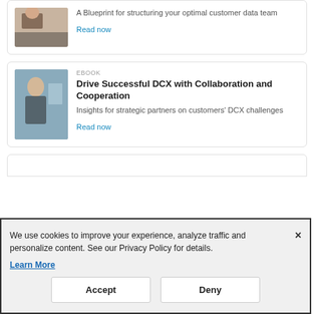[Figure (photo): Person working on laptop, partial view at top of card]
A Blueprint for structuring your optimal customer data team
Read now
[Figure (photo): Person sitting with tablet near window]
EBOOK
Drive Successful DCX with Collaboration and Cooperation
Insights for strategic partners on customers' DCX challenges
Read now
We use cookies to improve your experience, analyze traffic and personalize content. See our Privacy Policy for details.
Learn More
Accept
Deny